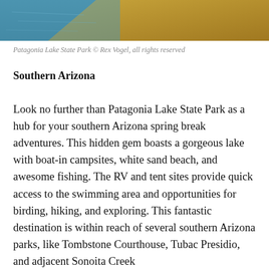[Figure (photo): Aerial or ground-level view of Patagonia Lake State Park showing blue water and golden sandy/grassy shoreline]
Patagonia Lake State Park © Rex Vogel, all rights reserved
Southern Arizona
Look no further than Patagonia Lake State Park as a hub for your southern Arizona spring break adventures. This hidden gem boasts a gorgeous lake with boat-in campsites, white sand beach, and awesome fishing. The RV and tent sites provide quick access to the swimming area and opportunities for birding, hiking, and exploring. This fantastic destination is within reach of several southern Arizona parks, like Tombstone Courthouse, Tubac Presidio, and adjacent Sonoita Creek